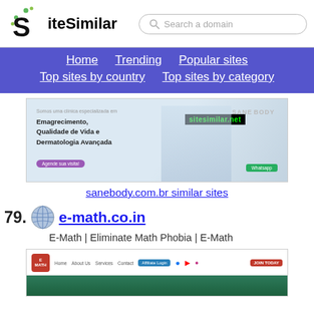SiteSimilar — Search a domain
Home   Trending   Popular sites   Top sites by country   Top sites by category
[Figure (screenshot): Screenshot of sanebody.com.br showing a medical/aesthetics clinic website with text 'Emagrecimento, Qualidade de Vida e Dermatologia Avançada' and SANE BODY branding]
sanebody.com.br similar sites
79. e-math.co.in
E-Math | Eliminate Math Phobia | E-Math
[Figure (screenshot): Screenshot of e-math.co.in showing the website header with logo, navigation links (Home, About Us, Services, Contact), Affiliate Login button, social icons (Facebook, YouTube, Instagram), and JOIN TODAY button]